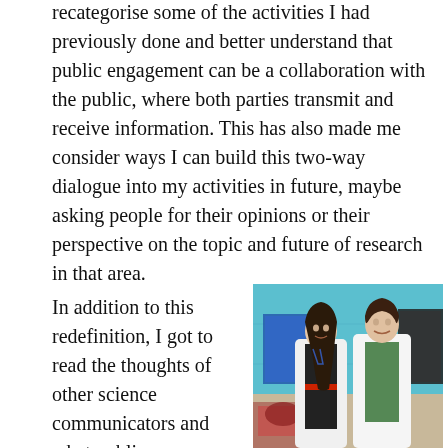recategorise some of the activities I had previously done and better understand that public engagement can be a collaboration with the public, where both parties transmit and receive information. This has also made me consider ways I can build this two-way dialogue into my activities in future, maybe asking people for their opinions or their perspective on the topic and future of research in that area.
In addition to this redefinition, I got to read the thoughts of other science communicators and what public engagement means from their
[Figure (photo): Two people wearing white lab coats standing together in a gymnasium or sports hall with a light blue wall behind them. The person on the left is a woman with long dark hair wearing a black outfit with a red belt. The person on the right is a man with short dark hair. Behind them are research posters and display boards.]